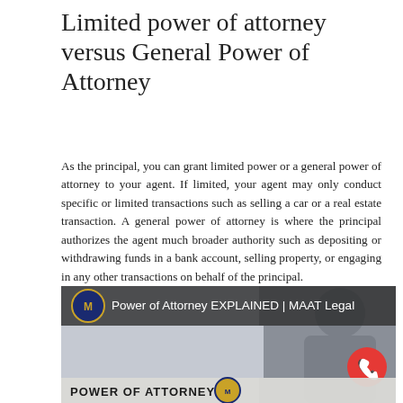Limited power of attorney versus General Power of Attorney
As the principal, you can grant limited power or a general power of attorney to your agent. If limited, your agent may only conduct specific or limited transactions such as selling a car or a real estate transaction. A general power of attorney is where the principal authorizes the agent much broader authority such as depositing or withdrawing funds in a bank account, selling property, or engaging in any other transactions on behalf of the principal.
[Figure (screenshot): Video thumbnail for 'Power of Attorney EXPLAINED | MAAT Legal' showing the MAAT Legal logo, a phone/call button, and the text 'POWER OF ATTORNEY' at the bottom with a person visible on the right side.]